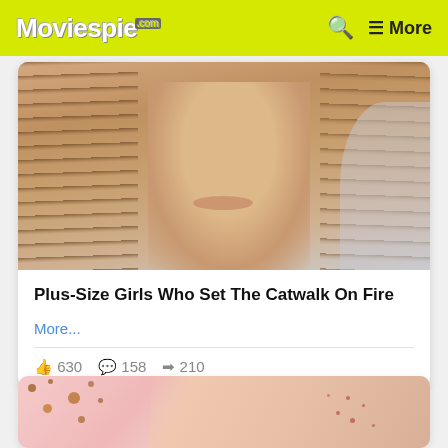Moviespie.com
[Figure (photo): Close-up photo of a young woman with long brown hair, smiling slightly, upper body visible]
Plus-Size Girls Who Set The Catwalk On Fire
More...
630  158  210
[Figure (photo): Medical image showing skin with rash/spots, with illustrated spots on pink background to the left]